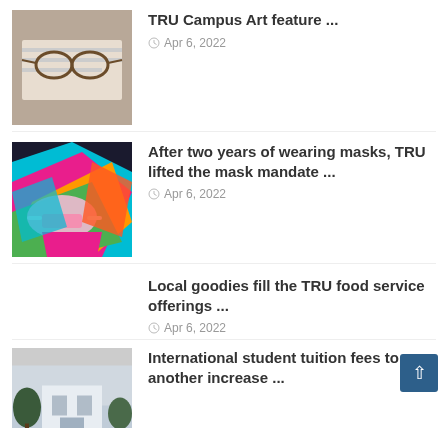[Figure (photo): Glasses resting on an open book/notebook on a desk]
TRU Campus Art feature ...
Apr 6, 2022
[Figure (photo): Colorful patterned face masks piled together]
After two years of wearing masks, TRU lifted the mask mandate ...
Apr 6, 2022
Local goodies fill the TRU food service offerings ...
Apr 6, 2022
[Figure (photo): Building exterior with trees, partially visible]
International student tuition fees to see another increase ...